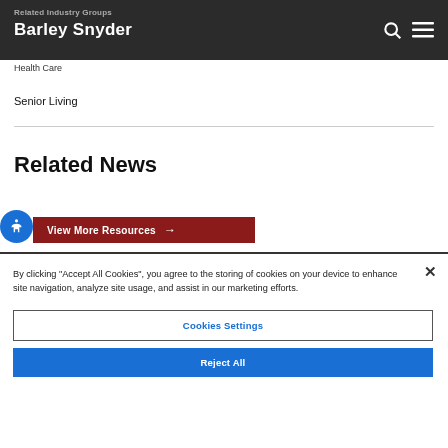Barley Snyder
Related Industry Groups
Health Care
Senior Living
Related News
View More Resources →
By clicking "Accept All Cookies", you agree to the storing of cookies on your device to enhance site navigation, analyze site usage, and assist in our marketing efforts.
Cookies Settings
Reject All